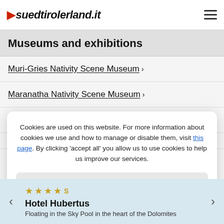suedtirolerland.it
Museums and exhibitions
Muri-Gries Nativity Scene Museum >
Maranatha Nativity Scene Museum >
Stabinger Nativity Scene Collection >
Nativity Scene Museum Original Heide >
Cookies are used on this website. For more information about cookies we use and how to manage or disable them, visit this page. By clicking 'accept all' you allow us to use cookies to help us improve our services.
Essential cookies only
Accept all
St. Nicholas and the Krampus >
★ ★ ★ ★ S
Hotel Hubertus
Floating in the Sky Pool in the heart of the Dolomites